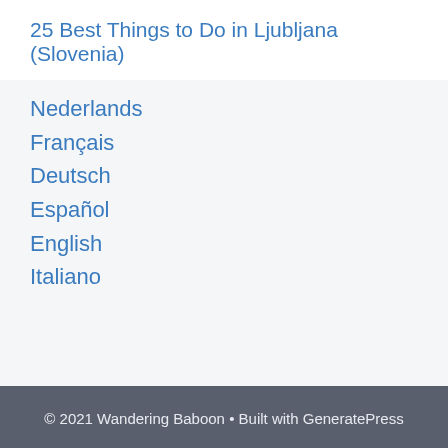25 Best Things to Do in Ljubljana (Slovenia)
Nederlands
Français
Deutsch
Español
English
Italiano
© 2021 Wandering Baboon • Built with GeneratePress